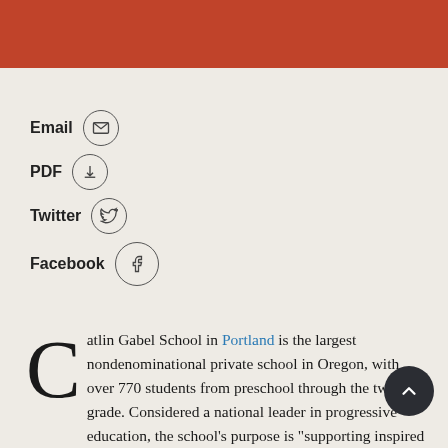[Figure (other): Red/terracotta colored banner bar at the top of the page]
Email [envelope icon]
PDF [download icon]
Twitter [Twitter bird icon]
Facebook [Facebook icon]
Catlin Gabel School in Portland is the largest nondenominational private school in Oregon, with over 770 students from preschool through the twelfth grade. Considered a national leader in progressive education, the school's purpose is "supporting inspired learning leading to responsible